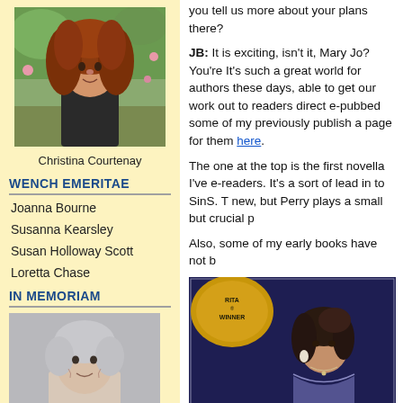[Figure (photo): Portrait photo of Christina Courtenay, a woman with long curly auburn hair, outdoors with flowers in background]
Christina Courtenay
WENCH EMERITAE
Joanna Bourne
Susanna Kearsley
Susan Holloway Scott
Loretta Chase
IN MEMORIAM
[Figure (photo): Portrait photo of an older woman with short silver-gray hair, smiling, gray background]
you tell us more about your plans there?
JB: It is exciting, isn't it, Mary Jo? You're It's such a great world for authors these days, able to get our work out to readers direct e-pubbed some of my previously publish a page for them here.
The one at the top is the first novella I've e-readers. It's a sort of lead in to SinS. T new, but Perry plays a small but crucial p
Also, some of my early books have not b
[Figure (photo): Book cover showing a RITA Winner badge in gold on dark blue background, with a woman in period dress with dark hair and pearl earring]